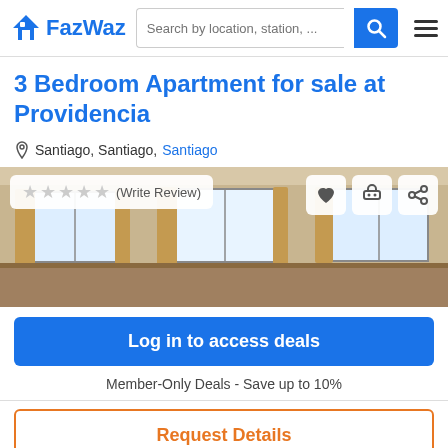FazWaz | Search by location, station, ...
3 Bedroom Apartment for sale at Providencia
Santiago, Santiago, Santiago
[Figure (photo): Interior photo of a room with windows and curtains, partially visible]
Log in to access deals
Member-Only Deals - Save up to 10%
Request Details